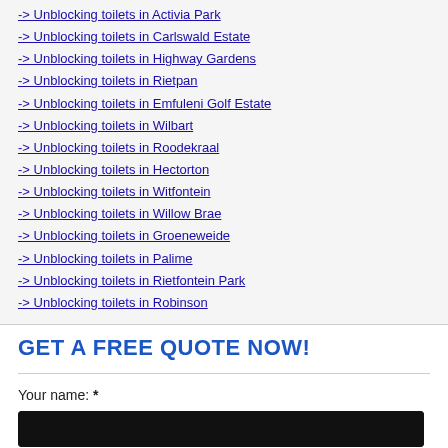-> Unblocking toilets in Activia Park
-> Unblocking toilets in Carlswald Estate
-> Unblocking toilets in Highway Gardens
-> Unblocking toilets in Rietpan
-> Unblocking toilets in Emfuleni Golf Estate
-> Unblocking toilets in Wilbart
-> Unblocking toilets in Roodekraal
-> Unblocking toilets in Hectorton
-> Unblocking toilets in Witfontein
-> Unblocking toilets in Willow Brae
-> Unblocking toilets in Groeneweide
-> Unblocking toilets in Palime
-> Unblocking toilets in Rietfontein Park
-> Unblocking toilets in Robinson
GET A FREE QUOTE NOW!
Your name: *
Your email: